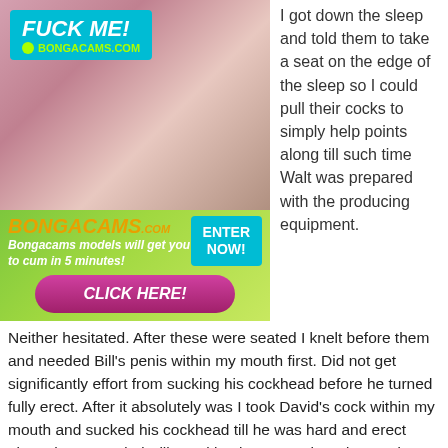[Figure (advertisement): BONGACAMS.COM advertisement banner with photo and promotional text including FUCK ME!, Bongacams models will get you to cum in 5 minutes!, ENTER NOW!, CLICK HERE! buttons]
I got down the sleep and told them to take a seat on the edge of the sleep so I could pull their cocks to simply help points along till such time Walt was prepared with the producing equipment. Neither hesitated. After these were seated I knelt before them and needed Bill's penis within my mouth first. Did not get significantly effort from sucking his cockhead before he turned fully erect. After it absolutely was I took David's cock within my mouth and sucked his cockhead till he was hard and erect also. Then I needed Bill's tool back my mouth and started to slowly mouth fuck it while pumping David's penis with one hand. Then I changed jobs so I really could mouth fuck Brian while patting Bill's cock. Just when I